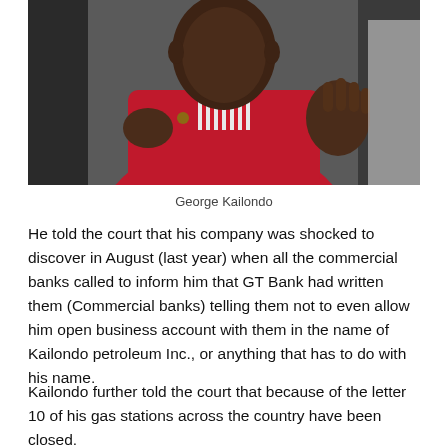[Figure (photo): Photograph of George Kailondo, a man wearing a red jacket and red-and-white striped shirt, gesturing with his right hand raised.]
George Kailondo
He told the court that his company was shocked to discover in August (last year) when all the commercial banks called to inform him that GT Bank had written them (Commercial banks) telling them not to even allow him open business account with them in the name of Kailondo petroleum Inc., or anything that has to do with his name.
Kailondo further told the court that because of the letter 10 of his gas stations across the country have been closed.